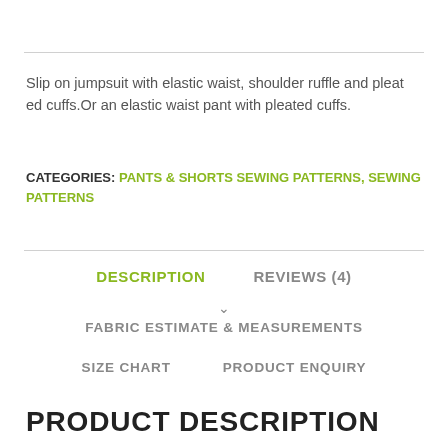Slip on jumpsuit with elastic waist, shoulder ruffle and pleat ed cuffs.Or an elastic waist pant with pleated cuffs.
CATEGORIES: PANTS & SHORTS SEWING PATTERNS, SEWING PATTERNS
DESCRIPTION   REVIEWS (4)
FABRIC ESTIMATE & MEASUREMENTS
SIZE CHART   PRODUCT ENQUIRY
PRODUCT DESCRIPTION